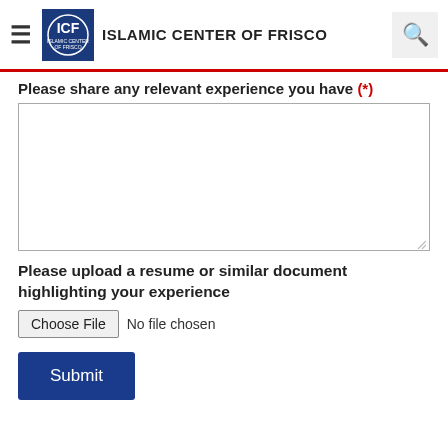ISLAMIC CENTER OF FRISCO
Please share any relevant experience you have (*)
[Figure (screenshot): Empty textarea input field for entering relevant experience]
Please upload a resume or similar document highlighting your experience
[Figure (screenshot): File input: Choose File button with 'No file chosen' text]
[Figure (screenshot): Submit button in dark navy blue]